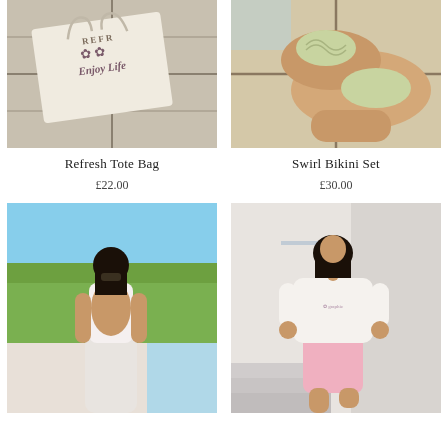[Figure (photo): A white tote bag with 'Enjoy Life' text and flower graphic, lying on concrete tiles]
Refresh Tote Bag
£22.00
[Figure (photo): Woman lying on tiled surface wearing a swirl patterned bikini set near a pool]
Swirl Bikini Set
£30.00
[Figure (photo): Woman in white backless top and white shorts standing by a pool with trees in background]
[Figure (photo): Woman in white graphic t-shirt and pink shorts standing on stairs indoors]